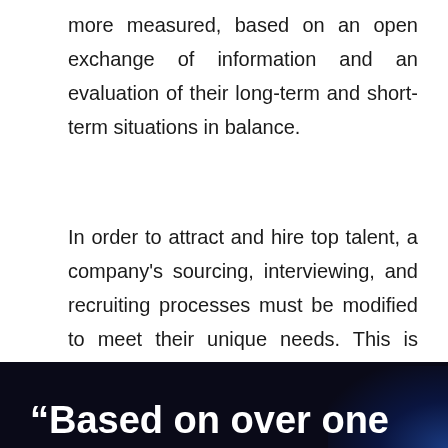more measured, based on an open exchange of information and an evaluation of their long-term and short-term situations in balance.
In order to attract and hire top talent, a company's sourcing, interviewing, and recruiting processes must be modified to meet their unique needs. This is what Performance-based Hiring is about. Even more important, this is accomplished without compromising assessment accuracy or paying unnecessary salary premiums.
“Based on over one